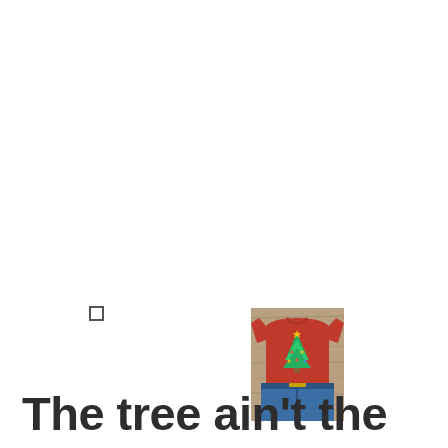[Figure (other): Small empty checkbox/square UI element]
[Figure (photo): Product photo of a red Christmas t-shirt with green Christmas tree design, laid flat on a wooden surface with denim shorts]
The tree ain't the only thing getting lit this year